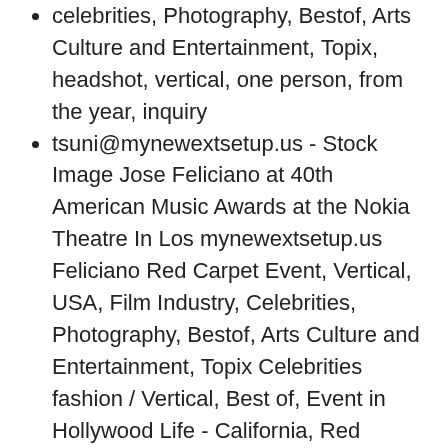celebrities, Photography, Bestof, Arts Culture and Entertainment, Topix, headshot, vertical, one person, from the year, inquiry
tsuni@mynewextsetup.us - Stock Image Jose Feliciano at 40th American Music Awards at the Nokia Theatre In Los mynewextsetup.us Feliciano Red Carpet Event, Vertical, USA, Film Industry, Celebrities, Photography, Bestof, Arts Culture and Entertainment, Topix Celebrities fashion / Vertical, Best of, Event in Hollywood Life - California, Red Carpet and backstage, USA, Film Industry, Celebrities, movie celebrities, TV celebrities, Music celebrities, Photography, Bestof, Arts Culture and Entertainment, Topix, headshot, vertical, one person, from the year, inquiry tsuni@mynewextsetup.use Feliciano at 40th American Music Awards at the Nokia Theatre In Los mynewextsetup.us Feliciano Red Carpet Event, Vertical, USA, Film Industry,